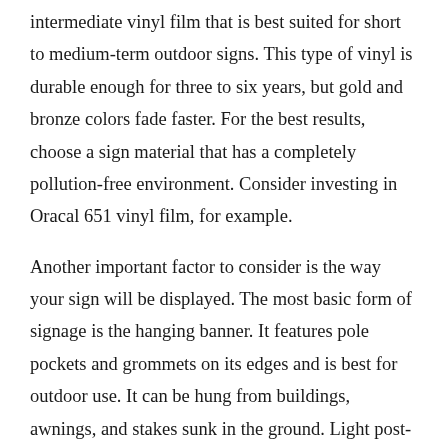intermediate vinyl film that is best suited for short to medium-term outdoor signs. This type of vinyl is durable enough for three to six years, but gold and bronze colors fade faster. For the best results, choose a sign material that has a completely pollution-free environment. Consider investing in Oracal 651 vinyl film, for example.
Another important factor to consider is the way your sign will be displayed. The most basic form of signage is the hanging banner. It features pole pockets and grommets on its edges and is best for outdoor use. It can be hung from buildings, awnings, and stakes sunk in the ground. Light post-style banners have pole pockets at the top and bottom and are often printed double-sided. These banners will last the season at best.